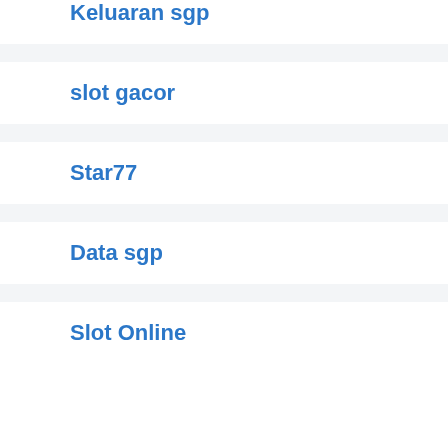Keluaran sgp
slot gacor
Star77
Data sgp
Slot Online